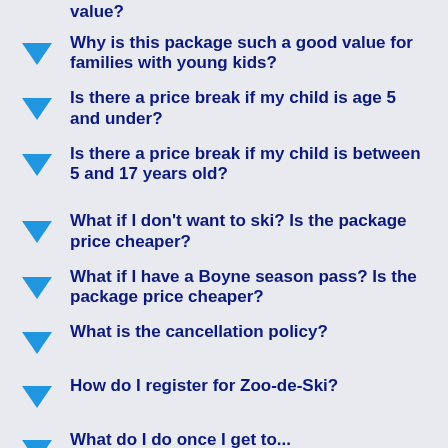value?
Why is this package such a good value for families with young kids?
Is there a price break if my child is age 5 and under?
Is there a price break if my child is between 5 and 17 years old?
What if I don't want to ski? Is the package price cheaper?
What if I have a Boyne season pass? Is the package price cheaper?
What is the cancellation policy?
How do I register for Zoo-de-Ski?
What do I do once I get to...